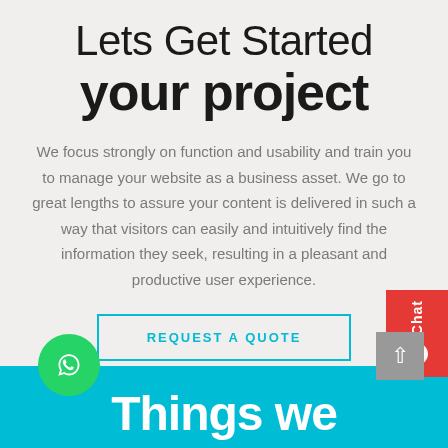Lets Get Started
your project
We focus strongly on function and usability and train you to manage your website as a business asset. We go to great lengths to assure your content is delivered in such a way that visitors can easily and intuitively find the information they seek, resulting in a pleasant and productive user experience.
REQUEST A QUOTE
[Figure (other): Red chat widget on right side with 'Chat' label and chat bubble icon]
[Figure (other): Green WhatsApp circular button at bottom left]
[Figure (other): Gray scroll-to-top button at bottom right with upward arrow]
Things we